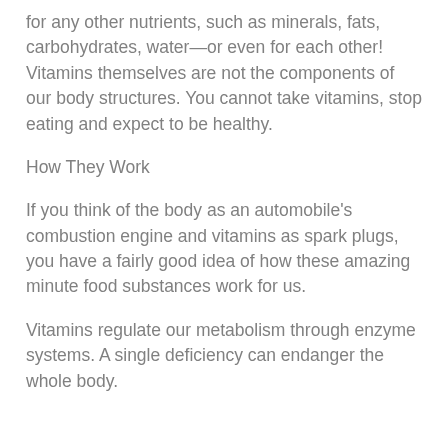for any other nutrients, such as minerals, fats, carbohydrates, water—or even for each other! Vitamins themselves are not the components of our body structures. You cannot take vitamins, stop eating and expect to be healthy.
How They Work
If you think of the body as an automobile's combustion engine and vitamins as spark plugs, you have a fairly good idea of how these amazing minute food substances work for us.
Vitamins regulate our metabolism through enzyme systems. A single deficiency can endanger the whole body.